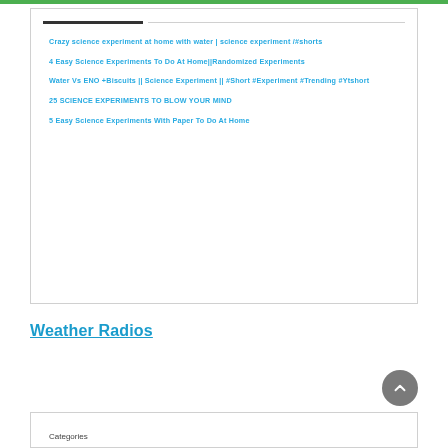Crazy science experiment at home with water | science experiment /#shorts
4 Easy Science Experiments To Do At Home||Randomized Experiments
Water Vs ENO +Biscuits || Science Experiment || #Short #Experiment #Trending #Ytshort
25 SCIENCE EXPERIMENTS TO BLOW YOUR MIND
5 Easy Science Experiments With Paper To Do At Home
Weather Radios
Categories